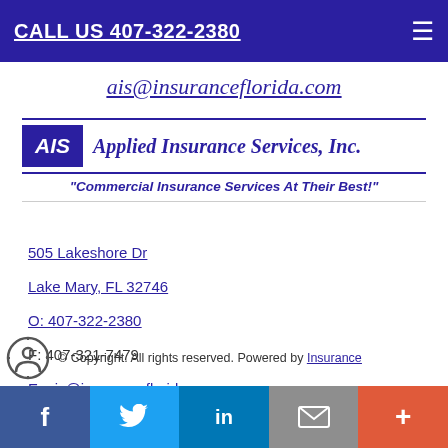CALL US 407-322-2380
ais@insuranceflorida.com
[Figure (logo): Applied Insurance Services Inc. logo with AIS box and tagline: Commercial Insurance Services At Their Best!]
505 Lakeshore Dr
Lake Mary, FL 32746
O: 407-322-2380
F: 407-321-7479
E: ais@insuranceflorida.com
© Copyright. All rights reserved. Powered by Insurance
Social bar: Facebook, Twitter, LinkedIn, Email, More